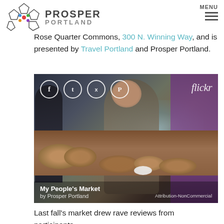Prosper Portland — MENU
Rose Quarter Commons, 300 N. Winning Way, and is presented by Travel Portland and Prosper Portland.
[Figure (photo): Indoor market scene with a smiling vendor behind a wooden table covered in artisan bread and baked goods, serving a customer in a purple jacket. Social media icons (Facebook, Tumblr, Twitter, Pinterest) and Flickr watermark overlay the top of the image. Caption reads: My People's Market by Prosper Portland. Attribution-NonCommercial license noted.]
Last fall's market drew rave reviews from participants,